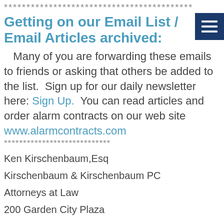******************************************
Getting on our Email List / Email Articles archived:
Many of you are forwarding these emails to friends or asking that others be added to the list.  Sign up for our daily newsletter here: Sign Up.  You can read articles and order alarm contracts on our web site www.alarmcontracts.com
****************************
Ken Kirschenbaum,Esq
Kirschenbaum & Kirschenbaum PC
Attorneys at Law
200 Garden City Plaza